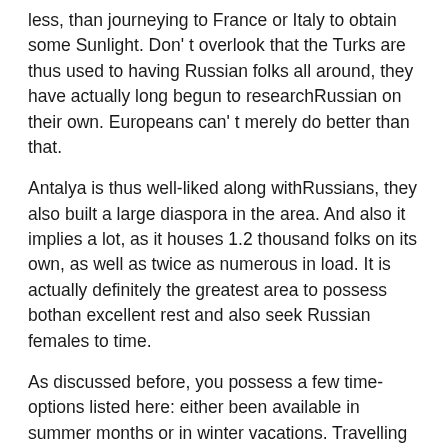less, than journeying to France or Italy to obtain some Sunlight. Don' t overlook that the Turks are thus used to having Russian folks all around, they have actually long begun to researchRussian on their own. Europeans can' t merely do better than that.
Antalya is thus well-liked along withRussians, they also built a large diaspora in the area. And also it implies a lot, as it houses 1.2 thousand folks on its own, as well as twice as numerous in load. It is actually definitely the greatest area to possess bothan excellent rest and also seek Russian females to time.
As discussed before, you possess a few time-options listed here: either been available in summer months or in winter vacations. Travelling season normally begin in July in Russia, yet some individuals happen right here on Xmas holidays to stay clear of a debilitating cold.
FINLAND